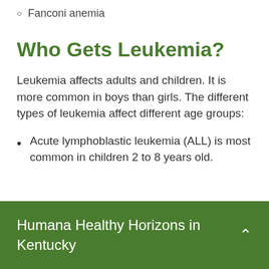Fanconi anemia
Who Gets Leukemia?
Leukemia affects adults and children. It is more common in boys than girls. The different types of leukemia affect different age groups:
Acute lymphoblastic leukemia (ALL) is most common in children 2 to 8 years old.
Humana Healthy Horizons in Kentucky